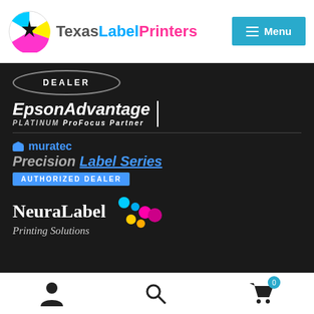[Figure (logo): Texas Label Printers logo with colorful icon and text]
[Figure (logo): Menu button with hamburger icon, cyan background]
[Figure (logo): DEALER badge in oval border on dark background]
[Figure (logo): Epson Advantage Platinum ProFocus Partner logo on dark background]
[Figure (logo): Muratec Precision Label Series Authorized Dealer logo on dark background]
[Figure (logo): NeuraLabel Printing Solutions logo with colored dots on dark background]
FREE Shipping on All Orders $150+
Notice: By using this website, you agree to our Privacy Policy & Terms of Service.
Dismiss
[Figure (infographic): Bottom navigation bar with user, search, and cart icons]